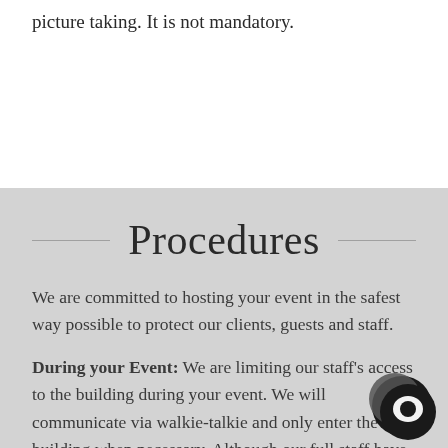picture taking. It is not mandatory.
Procedures
We are committed to hosting your event in the safest way possible to protect our clients, guests and staff.
During your Event: We are limiting our staff's access to the building during your event. We will communicate via walkie-talkie and only enter the building when necessary. Although our full staff have received vaccinations, we do have the potential to interact with many guests per weekend, we it is safest for everyone involved to limit exposure as much a